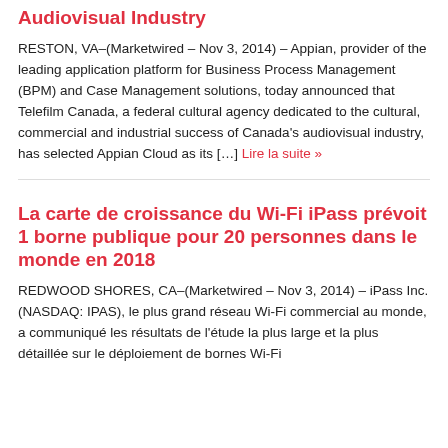Audiovisual Industry
RESTON, VA–(Marketwired – Nov 3, 2014) – Appian, provider of the leading application platform for Business Process Management (BPM) and Case Management solutions, today announced that Telefilm Canada, a federal cultural agency dedicated to the cultural, commercial and industrial success of Canada's audiovisual industry, has selected Appian Cloud as its […] Lire la suite »
La carte de croissance du Wi-Fi iPass prévoit 1 borne publique pour 20 personnes dans le monde en 2018
REDWOOD SHORES, CA–(Marketwired – Nov 3, 2014) – iPass Inc. (NASDAQ: IPAS), le plus grand réseau Wi-Fi commercial au monde, a communiqué les résultats de l'étude la plus large et la plus détaillée sur le déploiement de bornes Wi-Fi